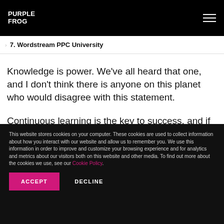PURPLE FROG
7. Wordstream PPC University
Knowledge is power. We've all heard that one, and I don't think there is anyone on this planet who would disagree with this statement.
Continuous learning is the key to success, and if in
This website stores cookies on your computer. These cookies are used to collect information about how you interact with our website and allow us to remember you. We use this information in order to improve and customize your browsing experience and for analytics and metrics about our visitors both on this website and other media. To find out more about the cookies we use, see our Cookie Policy.